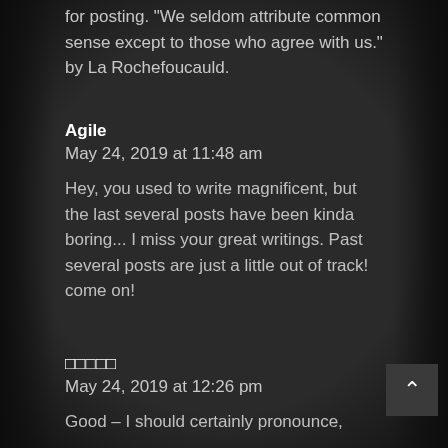for posting. "We seldom attribute common sense except to those who agree with us." by La Rochefoucauld.
Agile
May 24, 2019 at 11:48 am
Hey, you used to write magnificent, but the last several posts have been kinda boring... I miss your great writings. Past several posts are just a little out of track! come on!
□□□□□
May 24, 2019 at 12:26 pm
Good – I should certainly pronounce,